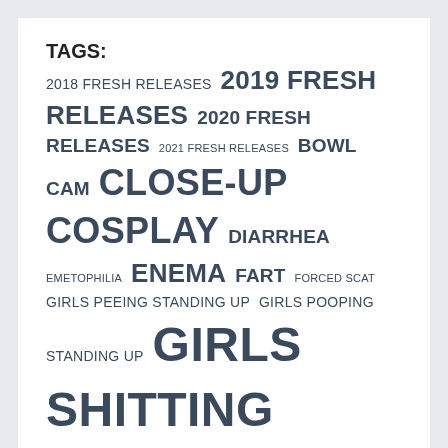TAGS:
2018 FRESH RELEASES 2019 FRESH RELEASES 2020 FRESH RELEASES 2021 FRESH RELEASES BOWL CAM CLOSE-UP COSPLAY DIARRHEA EMETOPHILIA ENEMA FART FORCED SCAT GIRLS PEEING STANDING UP GIRLS POOPING STANDING UP GIRLS SHITTING HD1080p HUMILIATION JAPANESE SCAT JIGADORI NO WATERMARK NUDE GIRLS OMORASHI OUTDOOR PISS OUTDOOR SCAT PANTYPOOP PEE DESPERATION PEEING VOYEUR PISS PUBLIC